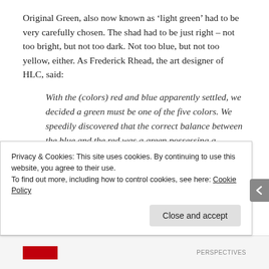Original Green, also now known as 'light green' had to be very carefully chosen. The shad had to be just right – not too bright, but not too dark. Not too blue, but not too yellow, either. As Frederick Rhead, the art designer of HLC, said:
With the (colors) red and blue apparently settled, we decided a green must be one of the five colors. We speedily discovered that the correct balance between the blue and the red was a green possessing a minimum of blue. We had to hit halfway between the red and the blue. We had
Privacy & Cookies: This site uses cookies. By continuing to use this website, you agree to their use.
To find out more, including how to control cookies, see here: Cookie Policy